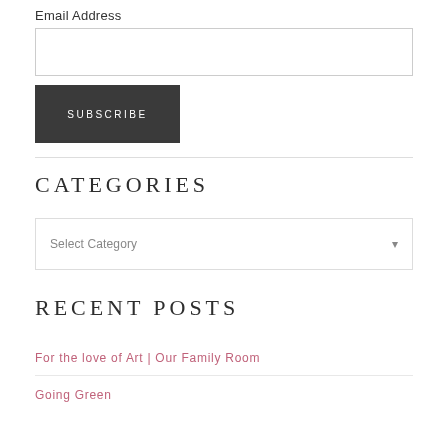Email Address
SUBSCRIBE
CATEGORIES
Select Category
RECENT POSTS
For the love of Art | Our Family Room
Going Green